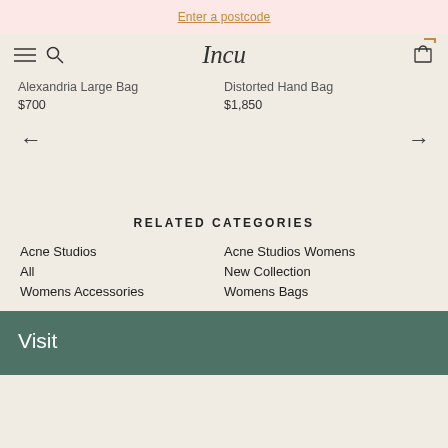Enter a postcode
Incu
Alexandria Large Bag
$700
Distorted Hand Bag
$1,850
RELATED CATEGORIES
Acne Studios
All
Womens Accessories
Acne Studios Womens
New Collection
Womens Bags
Visit